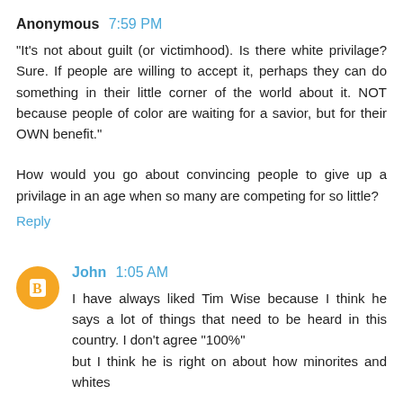Anonymous 7:59 PM
"It's not about guilt (or victimhood). Is there white privilage? Sure. If people are willing to accept it, perhaps they can do something in their little corner of the world about it. NOT because people of color are waiting for a savior, but for their OWN benefit."
How would you go about convincing people to give up a privilage in an age when so many are competing for so little?
Reply
John 1:05 AM
I have always liked Tim Wise because I think he says a lot of things that need to be heard in this country. I don't agree "100%" but I think he is right on about how minorites and whites interact.